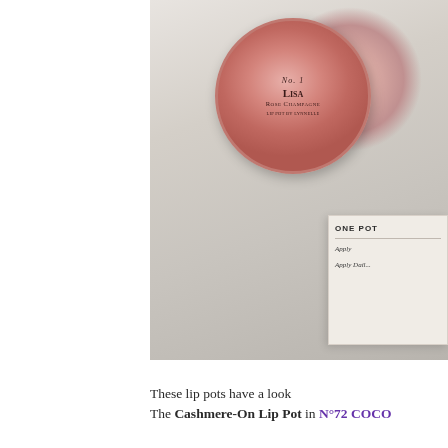[Figure (photo): Top-down photo on a marble surface showing a round pink lip pot labeled 'No.1 Lisa Rose Champagne' and a white product box partially visible with text 'ONE POT' and 'Apply Daily']
These lip pots have a look
The Cashmere-On Lip Pot in N°72 COCO...